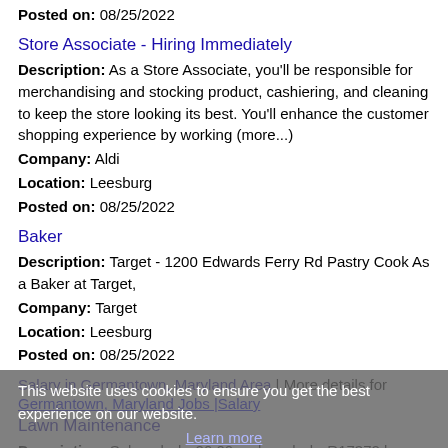Posted on: 08/25/2022
Store Associate - Hiring Immediately
Description: As a Store Associate, you'll be responsible for merchandising and stocking product, cashiering, and cleaning to keep the store looking its best. You'll enhance the customer shopping experience by working (more...)
Company: Aldi
Location: Leesburg
Posted on: 08/25/2022
Baker
Description: Target - 1200 Edwards Ferry Rd Pastry Cook As a Baker at Target,
Company: Target
Location: Leesburg
Posted on: 08/25/2022
Salary in Germantown, Maryland Area | More details for Germantown, Maryland Jobs |Salary
This website uses cookies to ensure you get the best experience on our website.
Learn more
Got it!
Lawn Maintenance
Description: Salary: br br 20.00 an hour br br R17372 br 100889 br br 22712 Commerce Center Ct, Dulles, Virginia 20166 br br Job